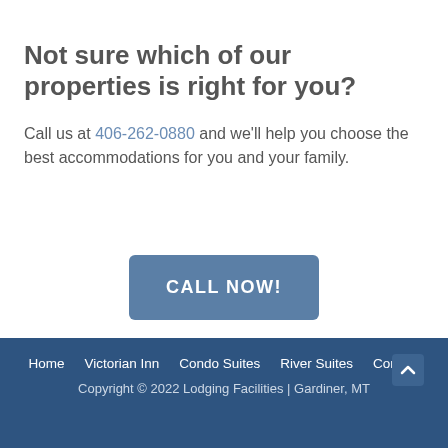Not sure which of our properties is right for you?
Call us at 406-262-0880 and we'll help you choose the best accommodations for you and your family.
[Figure (other): Blue button labeled CALL NOW!]
Home  Victorian Inn  Condo Suites  River Suites  Contact
Copyright © 2022 Lodging Facilities | Gardiner, MT